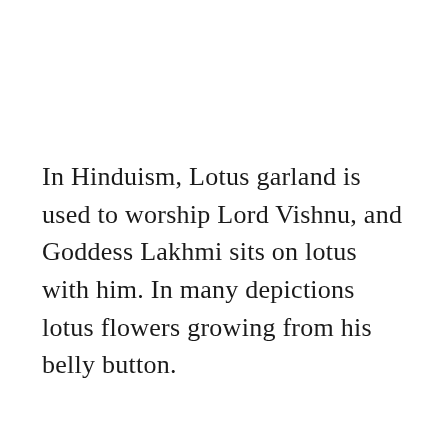In Hinduism, Lotus garland is used to worship Lord Vishnu, and Goddess Lakhmi sits on lotus with him. In many depictions lotus flowers growing from his belly button.